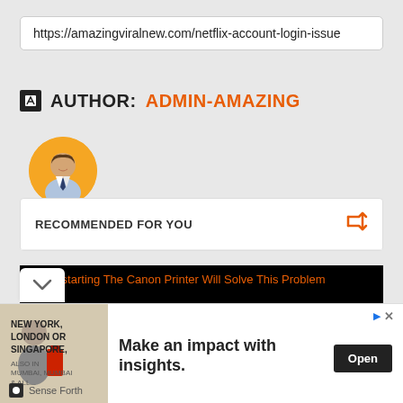https://amazingviralnew.com/netflix-account-login-issue
AUTHOR: ADMIN-AMAZING
[Figure (photo): Circular avatar photo of a man in a suit with orange background]
RECOMMENDED FOR YOU
[Figure (screenshot): Black image card with text: Restarting The Canon Printer Will Solve This Problem]
[Figure (infographic): Advertisement banner: Make an impact with insights. New York, London Or Singapore. Open button. Sense Forth branding.]